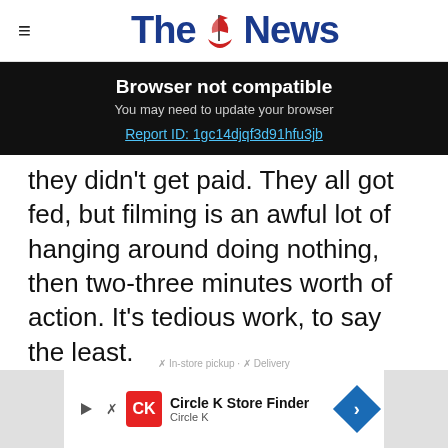The News
Browser not compatible
You may need to update your browser
Report ID: 1gc14djqf3d91hfu3jb
they didn't get paid. They all got fed, but filming is an awful lot of hanging around doing nothing, then two-three minutes worth of action. It's tedious work, to say the least.
[Figure (other): Gray advertisement placeholder box]
[Figure (other): Circle K Store Finder advertisement banner at the bottom of the page]